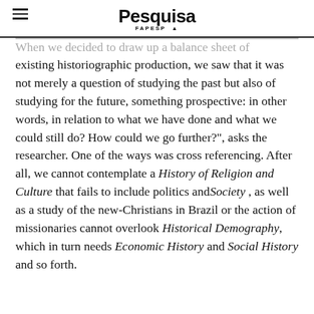Pesquisa FAPESP
When we decided to draw up a balance sheet of existing historiographic production, we saw that it was not merely a question of studying the past but also of studying for the future, something prospective: in other words, in relation to what we have done and what we could still do? How could we go further?", asks the researcher. One of the ways was cross referencing. After all, we cannot contemplate a History of Religion and Culture that fails to include politics and Society , as well as a study of the new-Christians in Brazil or the action of missionaries cannot overlook Historical Demography, which in turn needs Economic History and Social History and so forth.